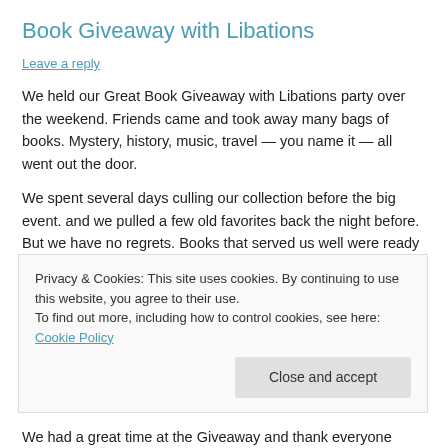Book Giveaway with Libations
Leave a reply
We held our Great Book Giveaway with Libations party over the weekend. Friends came and took away many bags of books. Mystery, history, music, travel — you name it — all went out the door.
We spent several days culling our collection before the big event. and we pulled a few old favorites back the night before. But we have no regrets. Books that served us well were ready to be enjoyed by others. Some of them will
Privacy & Cookies: This site uses cookies. By continuing to use this website, you agree to their use.
To find out more, including how to control cookies, see here: Cookie Policy
We had a great time at the Giveaway and thank everyone